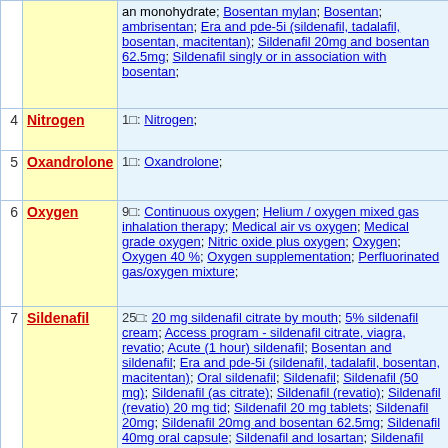| # | Name | Details |
| --- | --- | --- |
|  |  | an monohydrate; Bosentan mylan; Bosentan; ambrisentan; Era and pde-5i (sildenafil, tadalafil, bosentan, macitentan); Sildenafil 20mg and bosentan 62.5mg; Sildenafil singly or in association with bosentan; |
| 4 | Nitrogen | 1□: Nitrogen; |
| 5 | Oxandrolone | 1□: Oxandrolone; |
| 6 | Oxygen | 9□: Continuous oxygen; Helium / oxygen mixed gas inhalation therapy; Medical air vs oxygen; Medical grade oxygen; Nitric oxide plus oxygen; Oxygen; Oxygen 40 %; Oxygen supplementation; Perfluorinated gas/oxygen mixture; |
| 7 | Sildenafil | 25□: 20 mg sildenafil citrate by mouth; 5% sildenafil cream; Access program - sildenafil citrate, viagra, revatio; Acute (1 hour) sildenafil; Bosentan and sildenafil; Era and pde-5i (sildenafil, tadalafil, bosentan, macitentan); Oral sildenafil; Sildenafil; Sildenafil (50 mg); Sildenafil (as citrate); Sildenafil (revatio); Sildenafil (revatio) 20 mg tid; Sildenafil 20 mg tablets; Sildenafil 20mg; Sildenafil 20mg and bosentan 62.5mg; Sildenafil 40mg oral capsule; Sildenafil and losartan; Sildenafil citrate; Sildenafil citrate (uk-92,480); Sildenafil singly or in association with bosentan; Sildenafil therapy; Sitaxsentan and sildenafil; Sodium tanshinone sulfonate diluted with 5% glucose solution,20mg sildenafil citrate by mouth; Sub-chronic (4 weeks) sildenafil; Tadalafil and sildenafil; |